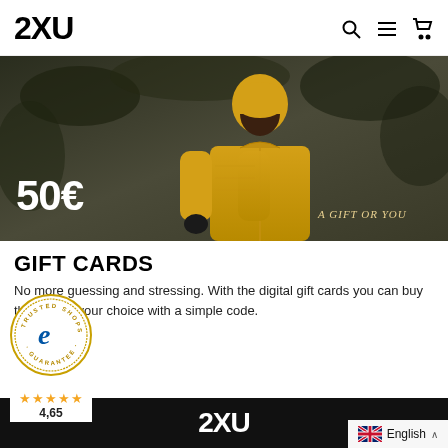2XU
[Figure (photo): A person wearing a yellow zip-up jacket and yellow head covering running outdoors, with '50€' text overlaid bottom-left and 'A GIFT OR YOU' text bottom-right]
GIFT CARDS
No more guessing and stressing. With the digital gift cards you can buy the gifts of your choice with a simple code.
.
[Figure (logo): Trusted Shops Guarantee badge — circular badge with 'TRUSTED SHOPS' text, stylized 'e' logo, 'GUARANTEE' text, star rating 4,65]
[Figure (logo): 2XU logo in white on black bar at bottom]
English